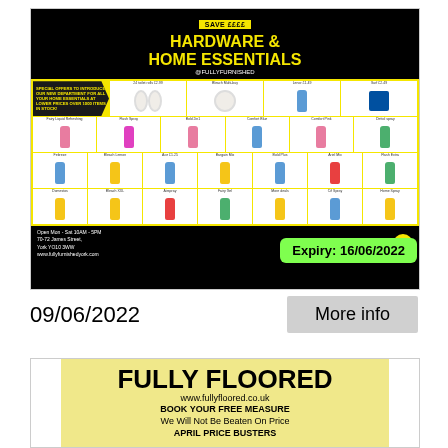[Figure (infographic): Hardware & Home Essentials advertisement for Fully Furnished. Black and yellow design with grid of cleaning and household products. Save EEEE banner at top. Open Mon-Sat 10AM-5PM, 70-72 James Street, York YO10 3WW, www.fullyfurnishedyork.com. Expiry badge: 16/06/2022]
Expiry: 16/06/2022
09/06/2022
More info
[Figure (infographic): Fully Floored advertisement on yellow background. FULLY FLOORED, www.fullyfloored.co.uk, BOOK YOUR FREE MEASURE, We Will Not Be Beaten On Price, APRIL PRICE BUSTERS]